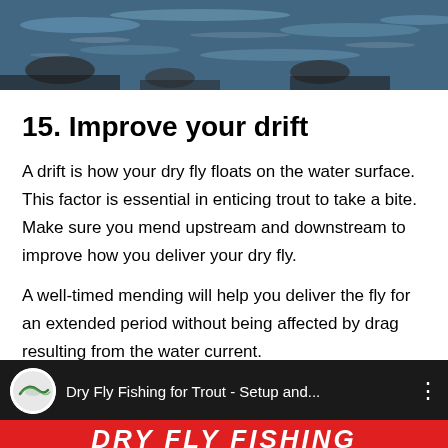[Figure (photo): Top portion of a river or water surface with blue-grey rippling water and some rocks visible.]
15.  Improve your drift
A drift is how your dry fly floats on the water surface. This factor is essential in enticing trout to take a bite. Make sure you mend upstream and downstream to improve how you deliver your dry fly.
A well-timed mending will help you deliver the fly for an extended period without being affected by drag resulting from the water current.
[Figure (screenshot): YouTube video thumbnail for 'Dry Fly Fishing for Trout - Setup and...' with a red banner reading 'DRY FLY FISHING' at the bottom.]